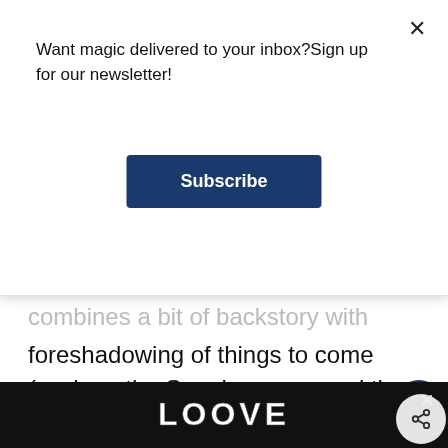Want magic delivered to your inbox?Sign up for our newsletter!
Subscribe
combines a bit of backstory with foreshadowing of things to come (such as the Sneakoscope, and the Monster Book of Monsters). Looking both backward and forward, combining humor and sympathy for Harry’s tiresome situation, the chapter completes its mission with the third-year Hogwarts letter, awakening anticipation and tension (how will Harry get the Dursleys to sign his permission slip?), and closing with a remark about Harry